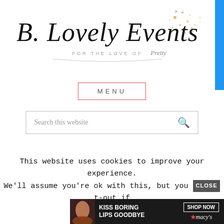[Figure (logo): B.Lovely Events logo with 'FOR THE LOVE OF Pretty' tagline and gold sparkle/glitter decoration]
MENU
Search this website
your
[Figure (photo): Seamless food delivery advertisement banner showing pizza slices with 'seamless' label and 'ORDER NOW' button on dark background]
This post may contain affiliate links, which means that if you click on one of the product links and
This website uses cookies to improve your experience. We'll assume you're ok with this, but you CLOSE t-out if
[Figure (photo): Macy's advertisement banner with 'KISS BORING LIPS GOODBYE' text, woman's face with red lips, 'SHOP NOW' button and Macy's star logo]